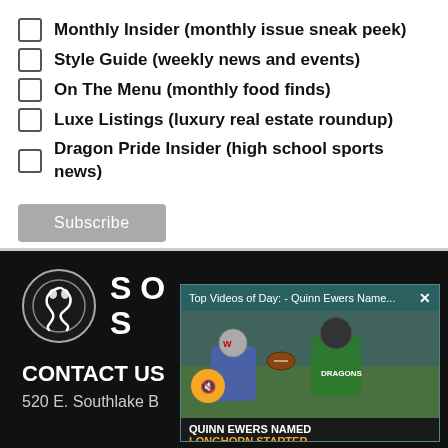Monthly Insider (monthly issue sneak peek)
Style Guide (weekly news and events)
On The Menu (monthly food finds)
Luxe Listings (luxury real estate roundup)
Dragon Pride Insider (high school sports news)
Subscribe
[Figure (screenshot): Video popup overlay: Top Videos of Day - Quinn Ewers Name... with an X close button. Shows football players in green Dragons jerseys. Has a mute button. Caption reads QUINN EWERS NAMED LONGHORN STARTER in white and yellow.]
CONTACT US
520 E. Southlake B...